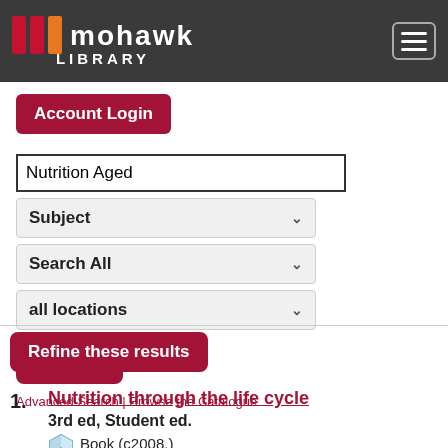[Figure (logo): Mohawk Library logo with three vertical bars (red, red, orange) and text 'mohawk LIBRARY' on dark grey background, with hamburger menu icon on the right]
Account Login
Nutrition Aged
Subject
Search All
all locations
Search
Advanced Search | Browse the Catalogue
Refine these results
1.
Nutrition through the life cycle
3rd ed, Student ed.
Book (c2008.)
Call number: QP141 .B874 2008
Place Hold